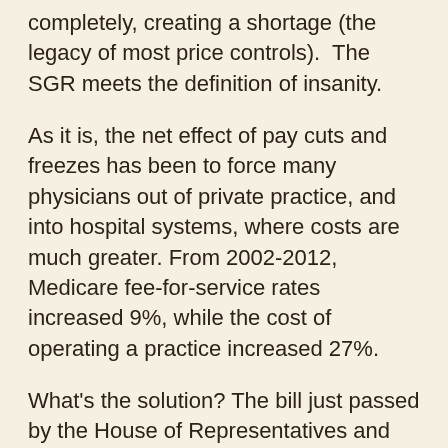completely, creating a shortage (the legacy of most price controls).  The SGR meets the definition of insanity.
As it is, the net effect of pay cuts and freezes has been to force many physicians out of private practice, and into hospital systems, where costs are much greater. From 2002-2012, Medicare fee-for-service rates increased 9%, while the cost of operating a practice increased 27%.
What's the solution? The bill just passed by the House of Representatives and awaiting Senate action does away with the SGR, but enshrines Medicare price controls and an